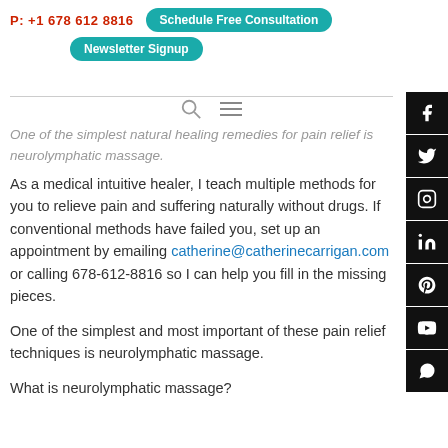P: +1 678 612 8816   Schedule Free Consultation   Newsletter Signup
One of the simplest natural healing remedies for pain relief is neurolymphatic massage.
As a medical intuitive healer, I teach multiple methods for you to relieve pain and suffering naturally without drugs. If conventional methods have failed you, set up an appointment by emailing catherine@catherinecarrigan.com or calling 678-612-8816 so I can help you fill in the missing pieces.
One of the simplest and most important of these pain relief techniques is neurolymphatic massage.
What is neurolymphatic massage?